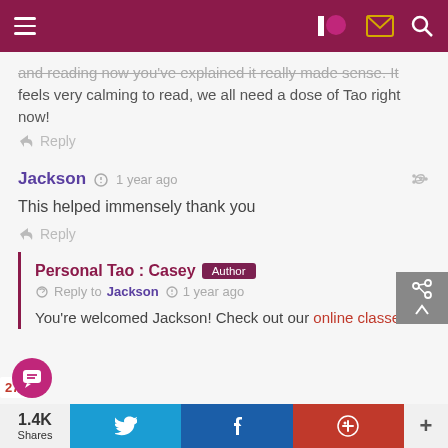Navigation bar with menu, Patreon, mail, and search icons
and reading now you've explained it really made sense. It feels very calming to read, we all need a dose of Tao right now!
Reply
Jackson  1 year ago
This helped immensely thank you
Reply
Personal Tao : Casey  Author  Reply to Jackson  1 year ago
You're welcomed Jackson! Check out our online classes!